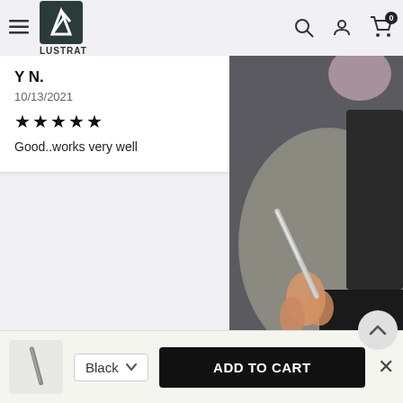LUSTRAT — navigation header with hamburger menu, logo, search, account, and cart icons
Y N.
10/13/2021
★★★★★
Good..works very well
[Figure (photo): Close-up photo of a hand holding a metallic pen-like tool over a textured gray car seat mat, with dark background]
E V.
10/8/2021
★★★★★
Shines very bright
Black  ∨   ADD TO CART   ✕